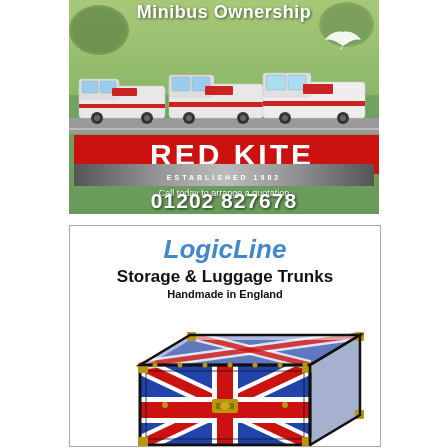[Figure (illustration): Red Kite minibus company advertisement showing three white minibuses parked on a road with green background, Red Kite logo in red banner, established 1982, phone number 01202 827678]
[Figure (illustration): LogicLine Storage & Luggage Trunks advertisement showing a Union Jack patterned trunk with gold corners, handmade in England]